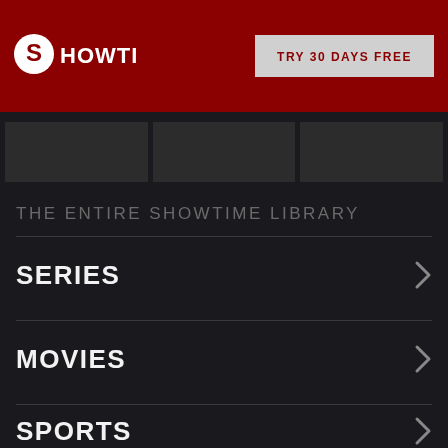[Figure (logo): Showtime logo in white on dark red header]
TRY 30 DAYS FREE
[Figure (screenshot): Three dark thumbnail images in a horizontal strip]
THE ENTIRE SHOWTIME LIBRARY
SERIES
MOVIES
SPORTS
DOCUMENTARIES